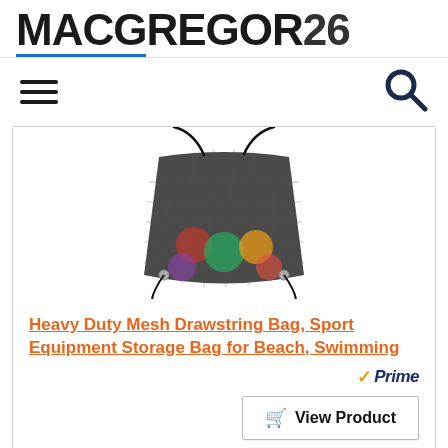[Figure (logo): MACGREGOR26 site logo in bold dark text with blue underline accent]
[Figure (other): Hamburger menu icon (three horizontal lines) on the left and search magnifying glass icon on the right]
[Figure (photo): Heavy duty black mesh drawstring bag containing colorful sports equipment balls]
Heavy Duty Mesh Drawstring Bag, Sport Equipment Storage Bag for Beach, Swimming
[Figure (logo): Amazon Prime badge with orange checkmark and italic Prime text in navy]
View Product
RANKING #7
SALE